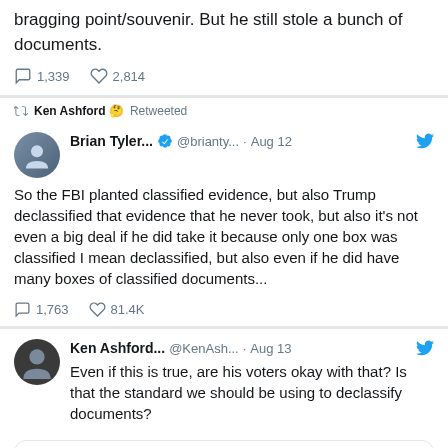bragging point/souvenir. But he still stole a bunch of documents.
1,339   2,814
Ken Ashford 🤔 Retweeted
Brian Tyler... ✔ @brianty... · Aug 12
So the FBI planted classified evidence, but also Trump declassified that evidence that he never took, but also it's not even a big deal if he did take it because only one box was classified I mean declassified, but also even if he did have many boxes of classified documents...
1,763   81.4K
Ken Ashford... @KenAsh... · Aug 13
Even if this is true, are his voters okay with that? Is that the standard we should be using to declassify documents?